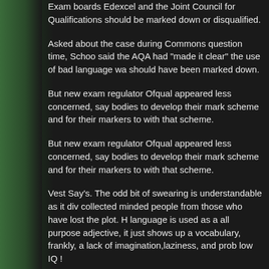Exam boards Edexcel and the Joint Council for Qualifications should be marked down or disqualified.
Asked about the case during Commons question time, Schools said the AQA had "made it clear" the use of bad language was should have been marked down.
But new exam regulator Ofqual appeared less concerned, saying bodies to develop their mark scheme and for their markers to with that scheme.
But new exam regulator Ofqual appeared less concerned, saying bodies to develop their mark scheme and for their markers to with that scheme.
Vest Say's. The odd bit of swearing is understandable as it divides collected minded people from those who have lost the plot. H language is used as a all purpose adjective, it just shows up a vocabulary, frankly, a lack of imagination,laziness, and probably low IQ !
BTW: The Actual "F" word will be banned from this particular